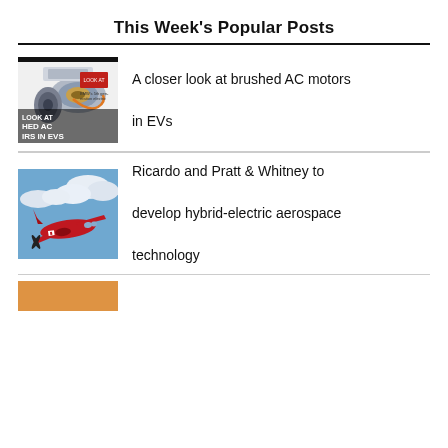This Week's Popular Posts
[Figure (photo): Magazine cover showing brushed AC motor components (exploded view of EV drivetrain) with text 'LOOK AT HED AC IRS IN EVS']
A closer look at brushed AC motors in EVs
[Figure (photo): Red turboprop aircraft flying through clouds - hybrid electric aerospace]
Ricardo and Pratt & Whitney to develop hybrid-electric aerospace technology